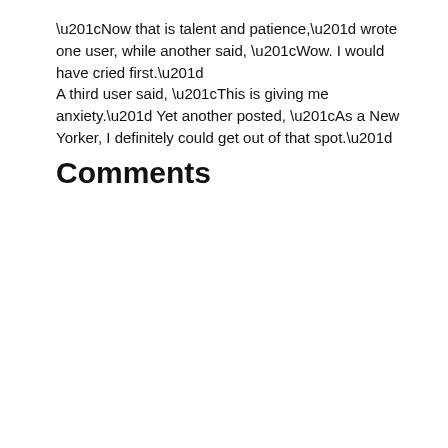“Now that is talent and patience,” wrote one user, while another said, “Wow. I would have cried first.” A third user said, “This is giving me anxiety.” Yet another posted, “As a New Yorker, I definitely could get out of that spot.”
Comments